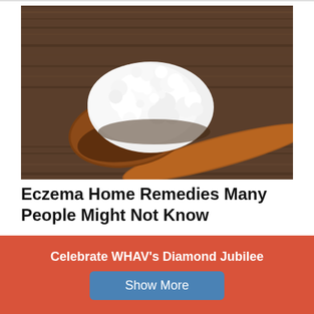[Figure (photo): A wooden spoon holding white lumpy cottage cheese or kefir grains against a rustic dark wooden background.]
Eczema Home Remedies Many People Might Not Know
Eczema Remedies | Sponsored
Celebrate WHAV’s Diamond Jubilee
Show More